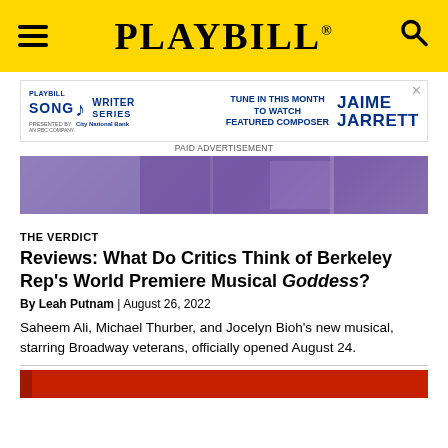PLAYBILL
[Figure (infographic): Playbill Songwriter Series advertisement featuring City National Bank, with text: TUNE IN THIS MONTH TO WATCH FEATURED COMPOSER JAIME JARRETT. PAID ADVERTISEMENT.]
[Figure (photo): Purple-toned hero image for article about Berkeley Rep's Goddess musical]
THE VERDICT
Reviews: What Do Critics Think of Berkeley Rep's World Premiere Musical Goddess?
By Leah Putnam | August 26, 2022
Saheem Ali, Michael Thurber, and Jocelyn Bioh's new musical, starring Broadway veterans, officially opened August 24.
[Figure (photo): Red-toned partial image at the bottom of the page]